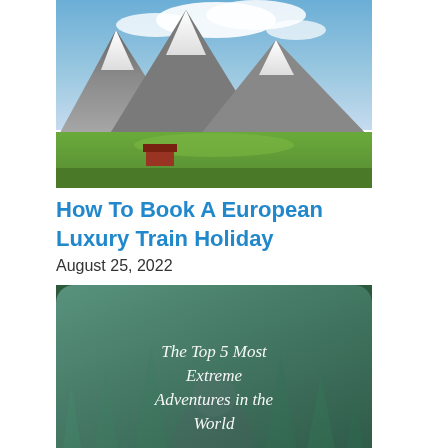[Figure (photo): Mountain landscape with snow-capped peaks, green valley, red building, and cloudy sky]
How To Book A European Luxury Train Holiday
August 25, 2022
[Figure (photo): Person photographed from behind in nature with text overlay: 'The Top 5 Most Extreme Adventures in the World']
The Top 5 Most Extreme Adventures in the World
August 2, 2022
[Figure (photo): Partially visible image at bottom of page]